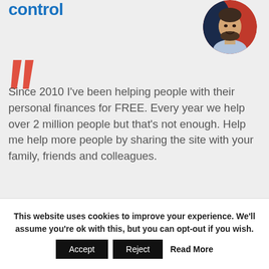control
[Figure (photo): Circular profile photo of a smiling man with a beard, wearing a light blue shirt, against a blue and red background.]
Since 2010 I've been helping people with their personal finances for FREE. Every year we help over 2 million people but that's not enough. Help me help more people by sharing the site with your family, friends and colleagues.
This website uses cookies to improve your experience. We'll assume you're ok with this, but you can opt-out if you wish.